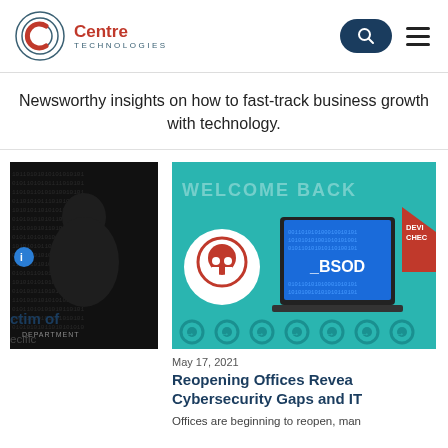Centre Technologies
Newsworthy insights on how to fast-track business growth with technology.
[Figure (screenshot): Dark background with binary code and a shadowy figure, with text DEPARTMENT at the bottom]
ctim of
ecific
[Figure (illustration): Cybersecurity illustration showing WELCOME BACK banner, a skull icon, BSOD blue screen on a laptop, and a device check sign with gear icons at the bottom]
May 17, 2021
Reopening Offices Revea Cybersecurity Gaps and IT
Offices are beginning to reopen, man